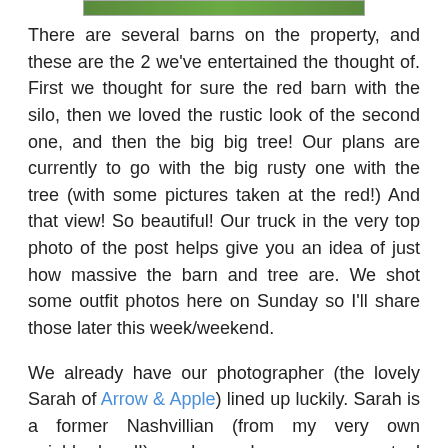[Figure (photo): Cropped top of a photo showing green grass/field, partial view of barn area]
There are several barns on the property, and these are the 2 we've entertained the thought of. First we thought for sure the red barn with the silo, then we loved the rustic look of the second one, and then the big big tree! Our plans are currently to go with the big rusty one with the tree (with some pictures taken at the red!) And that view! So beautiful! Our truck in the very top photo of the post helps give you an idea of just how massive the barn and tree are. We shot some outfit photos here on Sunday so I'll share those later this week/weekend.
We already have our photographer (the lovely Sarah of Arrow & Apple) lined up luckily. Sarah is a former Nashvillian (from my very own neighborhood!) and we have some mutual friends in common that I've noticed over the past little while. We're excited that she'll be flying back this way to share our big day with us. We also started talking yesterday with someone who may be catering our wedding, too. A mom & pop diner that Mike's dad frequents! And the dress... oh the dress. I currently have 1 backup dress lined up in case my 1st pick doesn't work out (I'm patiently awaiting it's